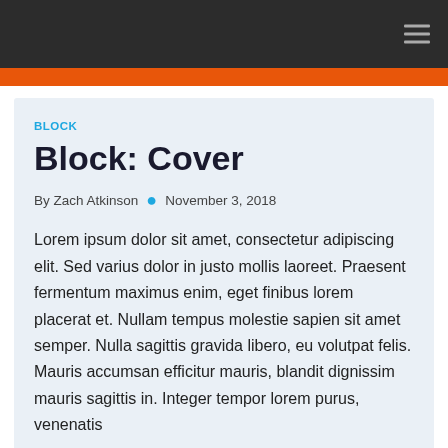BLOCK
Block: Cover
By Zach Atkinson • November 3, 2018
Lorem ipsum dolor sit amet, consectetur adipiscing elit. Sed varius dolor in justo mollis laoreet. Praesent fermentum maximus enim, eget finibus lorem placerat et. Nullam tempus molestie sapien sit amet semper. Nulla sagittis gravida libero, eu volutpat felis. Mauris accumsan efficitur mauris, blandit dignissim mauris sagittis in. Integer tempor lorem purus, venenatis